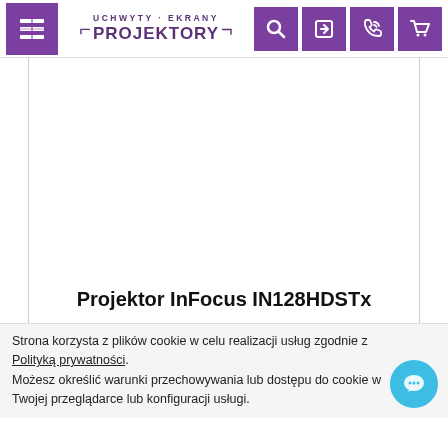[Figure (screenshot): Website header with purple hamburger menu icon on left, logo 'UCHWYTY · EKRANY PROJEKTORY' in center, and four purple icon buttons (search, login, phone/chat, cart) on right]
[Figure (other): White product image area with border, mostly blank/white]
Projektor InFocus IN128HDSTx
Strona korzysta z plików cookie w celu realizacji usług zgodnie z Polityką prywatności. Możesz określić warunki przechowywania lub dostępu do cookie w Twojej przeglądarce lub konfiguracji usługi.